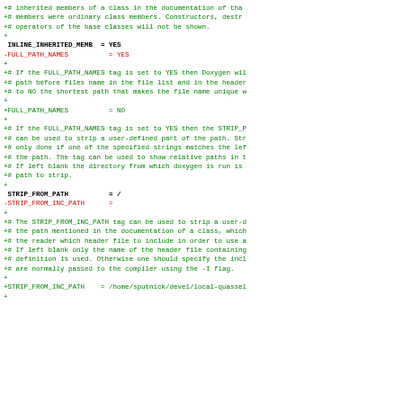Doxygen configuration file diff showing INLINE_INHERITED_MEMB, FULL_PATH_NAMES, STRIP_FROM_PATH, and STRIP_FROM_INC_PATH settings with comments